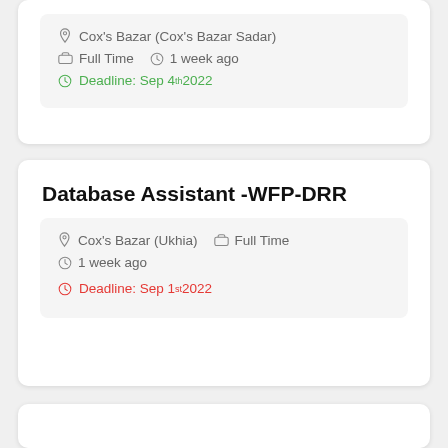Cox's Bazar (Cox's Bazar Sadar)
Full Time   1 week ago
Deadline: Sep 4th 2022
Database Assistant -WFP-DRR
Cox's Bazar (Ukhia)   Full Time
1 week ago
Deadline: Sep 1st 2022